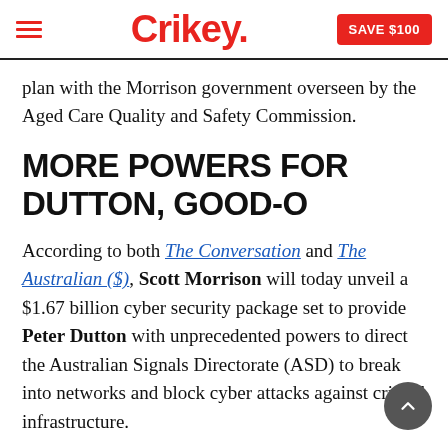Crikey. SAVE $100
plan with the Morrison government overseen by the Aged Care Quality and Safety Commission.
MORE POWERS FOR DUTTON, GOOD-O
According to both The Conversation and The Australian ($), Scott Morrison will today unveil a $1.67 billion cyber security package set to provide Peter Dutton with unprecedented powers to direct the Australian Signals Directorate (ASD) to break into networks and block cyber attacks against critical infrastructure.